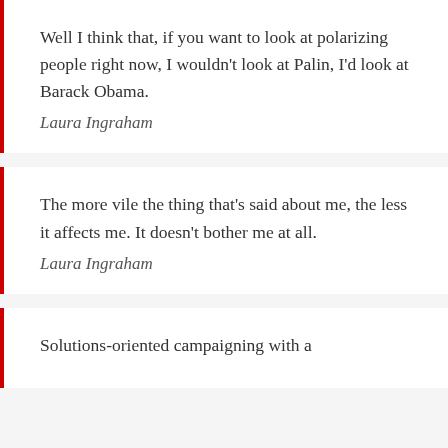Well I think that, if you want to look at polarizing people right now, I wouldn't look at Palin, I'd look at Barack Obama. Laura Ingraham
The more vile the thing that's said about me, the less it affects me. It doesn't bother me at all. Laura Ingraham
Solutions-oriented campaigning with a